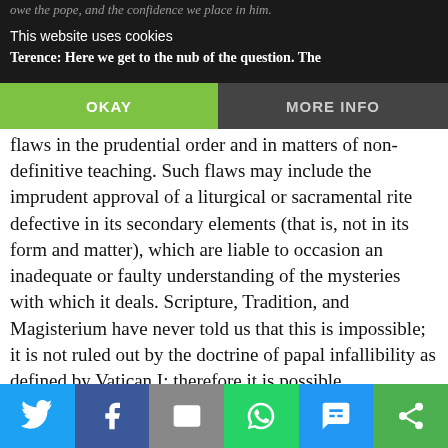owe the pope, and the confidence we place in him.
This website uses cookies
Terence: Here we get to the nub of the question. The
OKAY  |  MORE INFO
principle exclude grievous flaws in the prudential order and in matters of non-definitive teaching. Such flaws may include the imprudent approval of a liturgical or sacramental rite defective in its secondary elements (that is, not in its form and matter), which are liable to occasion an inadequate or faulty understanding of the mysteries with which it deals. Scripture, Tradition, and Magisterium have never told us that this is impossible; it is not ruled out by the doctrine of papal infallibility as defined by Vatican I; therefore it is possible.
Social share bar: Twitter, Facebook, Email, WhatsApp, SMS, More